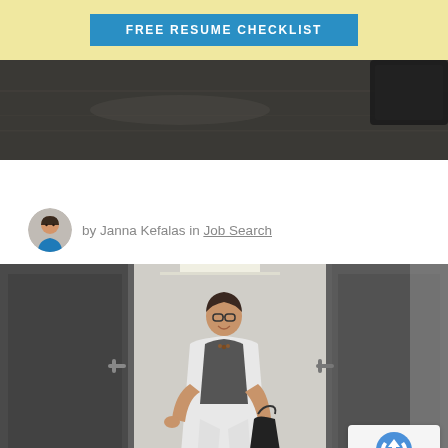[Figure (other): Yellow banner with blue 'FREE RESUME CHECKLIST' button]
[Figure (photo): Dark header area with wooden desk surface and partial laptop]
by Janna Kefalas in Job Search
[Figure (photo): Professional woman with glasses wearing white blazer and grey top, carrying handbag, walking through modern office glass doors, smiling upward]